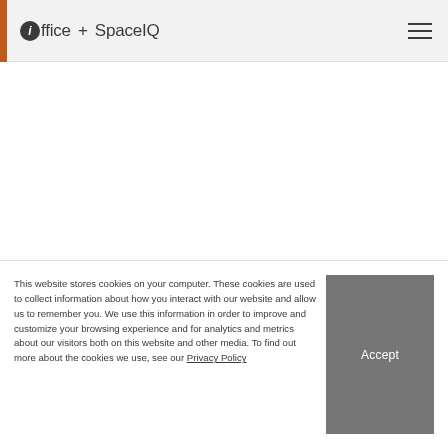ioffice + SpaceIQ
[Figure (logo): ioffice + SpaceIQ logo with hamburger menu icon]
ARCHIBUS
This website stores cookies on your computer. These cookies are used to collect information about how you interact with our website and allow us to remember you. We use this information in order to improve and customize your browsing experience and for analytics and metrics about our visitors both on this website and other media. To find out more about the cookies we use, see our Privacy Policy
Accept